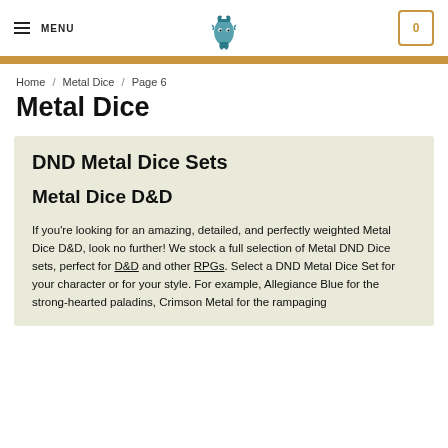MENU | [logo] | 0
Home / Metal Dice / Page 6
Metal Dice
DND Metal Dice Sets
Metal Dice D&D
If you're looking for an amazing, detailed, and perfectly weighted Metal Dice D&D, look no further! We stock a full selection of Metal DND Dice sets, perfect for D&D and other RPGs. Select a DND Metal Dice Set for your character or for your style. For example, Allegiance Blue for the strong-hearted paladins, Crimson Metal for the rampaging